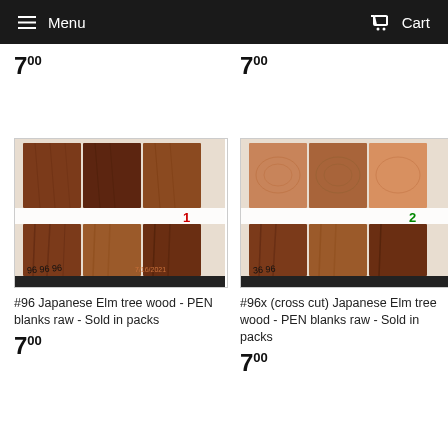Menu   Cart
700
700
[Figure (photo): Photo of Japanese Elm tree wood pen blanks, raw, labeled #96, stacked in a pack with number 1 marked in red, date stamp 7/16/2021]
[Figure (photo): Photo of Japanese Elm tree wood pen blanks, raw (cross cut), labeled #96x, stacked in a pack with number 2 marked in green]
#96 Japanese Elm tree wood - PEN blanks raw - Sold in packs
#96x (cross cut) Japanese Elm tree wood - PEN blanks raw - Sold in packs
700
700